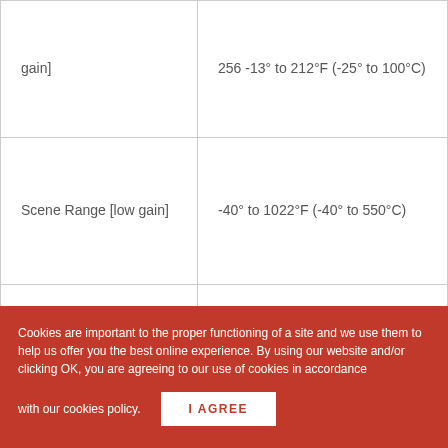| gain] | 256 -13° to 212°F (-25° to 100°C) |
| Scene Range [low gain] | -40° to 1022°F (-40° to 550°C) |
| Spectral Band | 7.5 - 13.5 μm |
| Spot Meter | Temperatures measured in central 4×4 |
Cookies are important to the proper functioning of a site and we use them to help us offer you the best online experience. By using our website and/or clicking OK, you are agreeing to our use of cookies in accordance with our cookies policy.